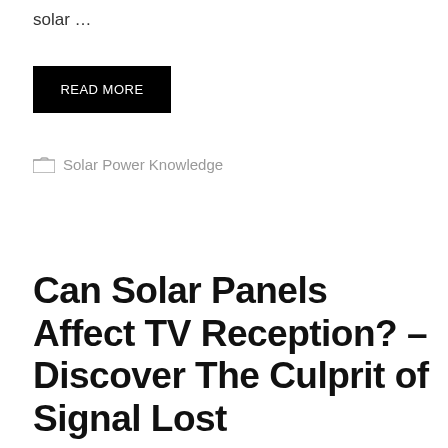solar …
READ MORE
Solar Power Knowledge
Can Solar Panels Affect TV Reception? – Discover The Culprit of Signal Lost